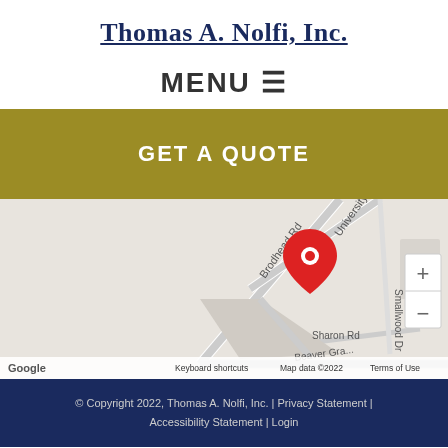Thomas A. Nolfi, Inc.
MENU ≡
GET A QUOTE
[Figure (map): Google Maps embed showing a red location pin on Brodhead Rd near University Blvd and Sharon Rd / Beaver Grade Rd intersection. Zoom controls visible on right. Google logo bottom left. Footer: Keyboard shortcuts | Map data ©2022 | Terms of Use]
© Copyright 2022, Thomas A. Nolfi, Inc. | Privacy Statement | Accessibility Statement | Login